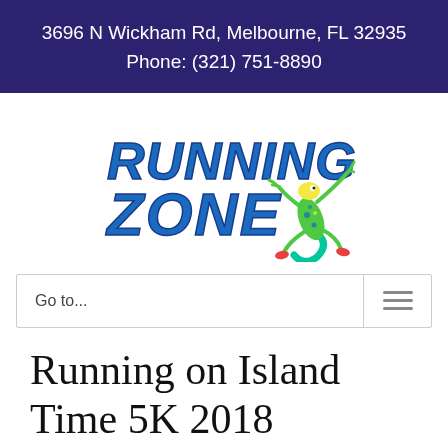3696 N Wickham Rd, Melbourne, FL 32935
Phone: (321) 751-8890
[Figure (logo): Running Zone logo with colorful gecko lizard and italic blue text]
Go to...
Running on Island Time 5K 2018 Competitive Women's Results